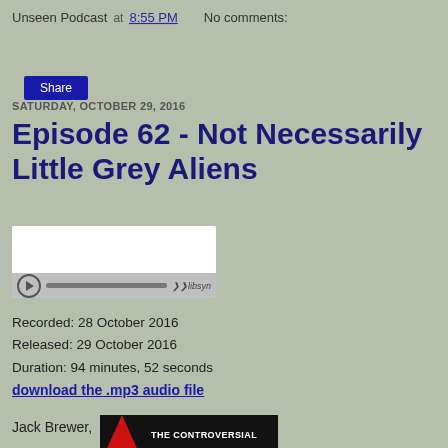Unseen Podcast at 8:55 PM   No comments:
Share
SATURDAY, OCTOBER 29, 2016
Episode 62 - Not Necessarily Little Grey Aliens
[Figure (other): Embedded audio player widget with libsyn branding, play button, and progress bar]
Recorded: 28 October 2016
Released: 29 October 2016
Duration: 94 minutes, 52 seconds
download the .mp3 audio file
Jack Brewer,
[Figure (photo): Book cover showing 'THE CONTROVERSIAL' text on dark background with red triangle element]